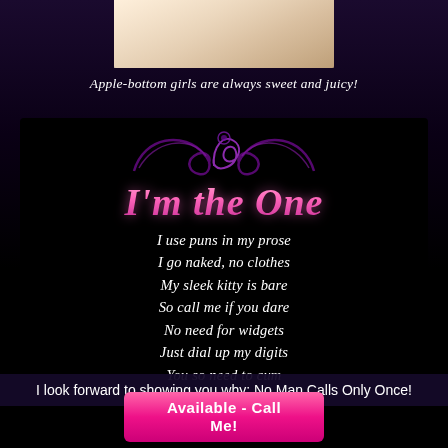[Figure (photo): Close-up photo of a person in lace/light fabric, cropped]
Apple-bottom girls are always sweet and juicy!
[Figure (illustration): Decorative purple swirl/flourish graphic above title text reading 'I'm the One' in pink gradient script]
I use puns in my prose
I go naked, no clothes
My sleek kitty is bare
So call me if you dare
No need for widgets
Just dial up my digits
You so need to cum
I look forward to showing you why: No Man Calls Only Once!
Available - Call Me!